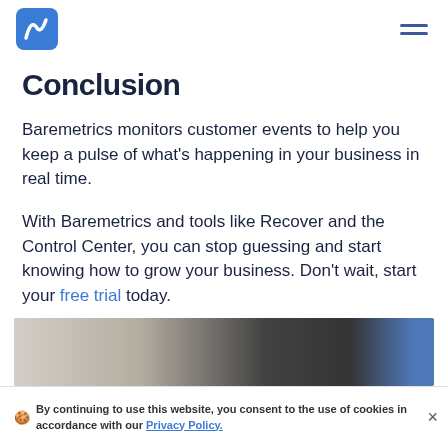Baremetrics logo and navigation
Conclusion
Baremetrics monitors customer events to help you keep a pulse of what's happening in your business in real time.
With Baremetrics and tools like Recover and the Control Center, you can stop guessing and start knowing how to grow your business. Don't wait, start your free trial today.
[Figure (photo): Partially visible image at the bottom of the page, appears to show an office or workspace environment]
🍪  By continuing to use this website, you consent to the use of cookies in accordance with our Privacy Policy.